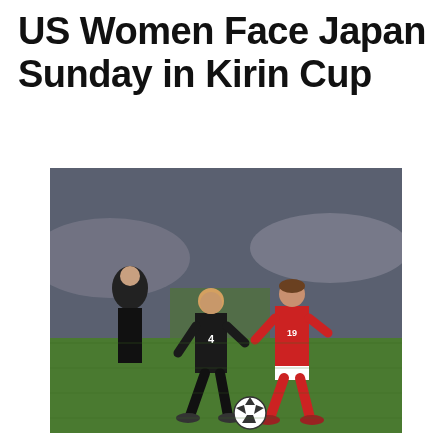US Women Face Japan Sunday in Kirin Cup
[Figure (photo): Women's soccer match photo showing a player in black US uniform (#4) dribbling against a player in red uniform (#19), with a soccer ball on a grass field, crowded stadium in background]
The U.S. Womenâ€™s National Team kicks off an exhibition tournament when it faces 2011 FIFA Womenâ€™s World Cup champion Japan to open the